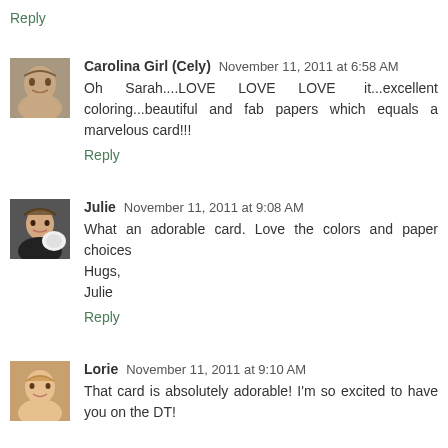Reply
Carolina Girl (Cely) November 11, 2011 at 6:58 AM
Oh Sarah....LOVE LOVE LOVE it...excellent coloring...beautiful and fab papers which equals a marvelous card!!!
Reply
Julie November 11, 2011 at 9:08 AM
What an adorable card. Love the colors and paper choices
Hugs,
Julie
Reply
Lorie November 11, 2011 at 9:10 AM
That card is absolutely adorable! I'm so excited to have you on the DT!